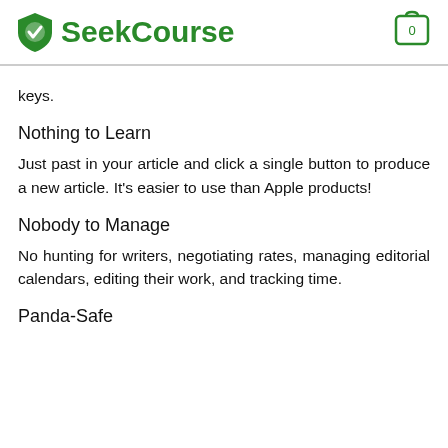SeekCourse
keys.
Nothing to Learn
Just past in your article and click a single button to produce a new article. It's easier to use than Apple products!
Nobody to Manage
No hunting for writers, negotiating rates, managing editorial calendars, editing their work, and tracking time.
Panda-Safe